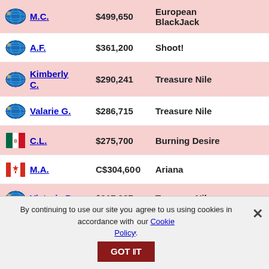| Flag | Name | Amount | Game |
| --- | --- | --- | --- |
| globe | M.C. | $499,650 | European BlackJack |
| globe | A.F. | $361,200 | Shoot! |
| globe | Kimberly C. | $290,241 | Treasure Nile |
| globe | Valarie G. | $286,715 | Treasure Nile |
| mexico | C.L. | $275,700 | Burning Desire |
| canada | M.A. | C$304,600 | Ariana |
| globe | Victoria B. | $217,087 | Treasure Nile |
Most Recent Wins at Vegas Palms
By continuing to use our site you agree to us using cookies in accordance with our Cookie Policy.